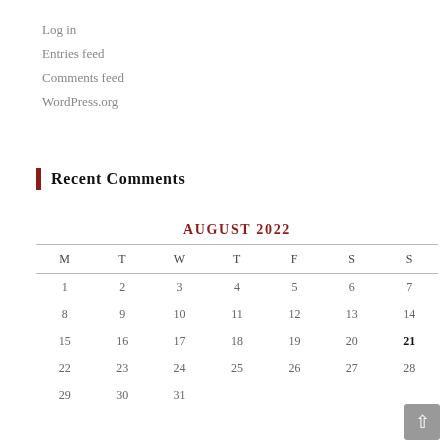Log in
Entries feed
Comments feed
WordPress.org
Recent Comments
| M | T | W | T | F | S | S |
| --- | --- | --- | --- | --- | --- | --- |
| 1 | 2 | 3 | 4 | 5 | 6 | 7 |
| 8 | 9 | 10 | 11 | 12 | 13 | 14 |
| 15 | 16 | 17 | 18 | 19 | 20 | 21 |
| 22 | 23 | 24 | 25 | 26 | 27 | 28 |
| 29 | 30 | 31 |  |  |  |  |